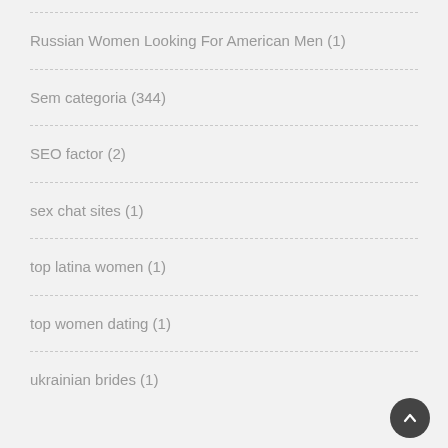Russian Women Looking For American Men (1)
Sem categoria (344)
SEO factor (2)
sex chat sites (1)
top latina women (1)
top women dating (1)
ukrainian brides (1)